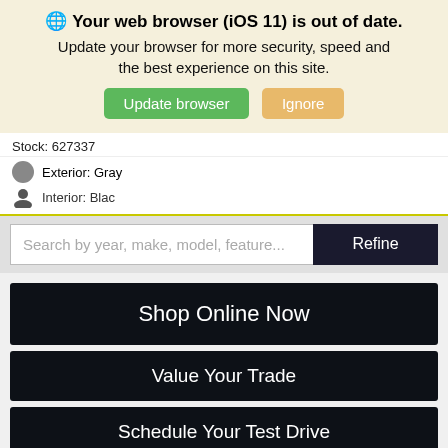[Figure (screenshot): Browser update warning banner with globe icon, bold title 'Your web browser (iOS 11) is out of date.', subtitle text, and two buttons: green 'Update browser' and tan 'Ignore']
Stock: 627337
Exterior: Gray
Interior: Black
[Figure (screenshot): Search bar with placeholder 'Search by year, make, model, feature...' and a dark 'Refine' button]
[Figure (screenshot): Three dark call-to-action buttons: 'Shop Online Now', 'Value Your Trade', 'Schedule Your Test Drive']
Details
|  |  |
| --- | --- |
| MSRP | $24,485 |
| Moritz VIP Package | $1,898 |